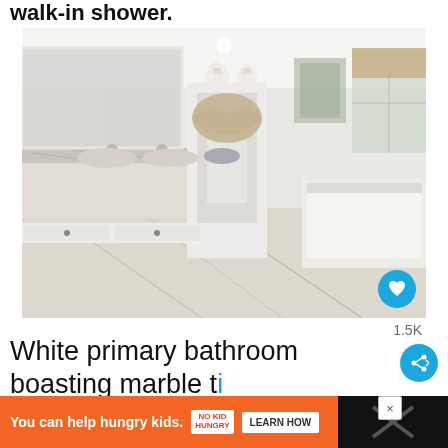walk-in shower.
[Figure (photo): Luxurious white primary bathroom with marble tile flooring and marble sink countertops, large mirrors, a soaking tub, and decorative window treatments. A heart/like button is overlaid in the bottom right corner.]
1.5K
White primary bathroom boasting marble tile flooring and marble sink countertops. There's a
You can help hungry kids. NO KID HUNGRY LEARN HOW